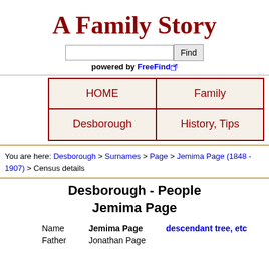A Family Story
[Figure (other): Search box with Find button and 'powered by FreeFind' label]
| HOME | Family |
| --- | --- |
| Desborough | History, Tips |
You are here: Desborough > Surnames > Page > Jemima Page (1848 - 1907) > Census details
Desborough - People
Jemima Page
| Name | Jemima Page | descendant tree, etc |
| --- | --- | --- |
| Father | Jonathan Page |  |